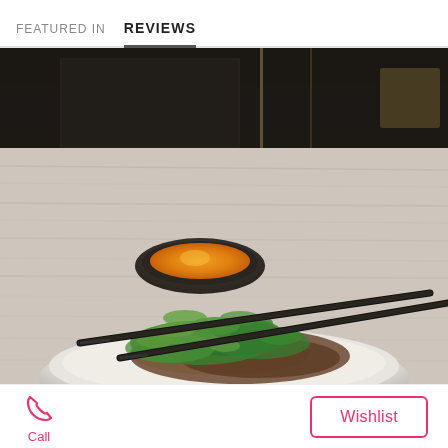FEATURED IN   REVIEWS
[Figure (photo): Close-up photo of an Asian noodle/rice bowl dish with chopsticks resting across it, garnished with fresh cilantro/herbs, with a small black dipping bowl containing orange sauce in the background, all placed on a light wood-grain table surface.]
Call
Wishlist